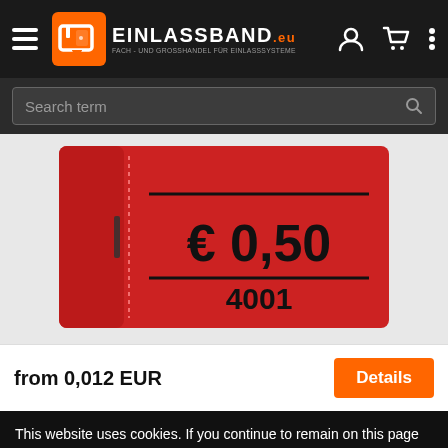[Figure (logo): Einlassband.eu logo with orange icon, white text EINLASSBAND and subtitle FACH- UND GROSSHANDEL FÜR EINLASSSYSTEME]
[Figure (screenshot): Search bar with placeholder text 'Search term' and search icon on dark background]
[Figure (photo): Red paper wristband/ticket showing '€ 0,50' and number '4001' printed on it]
from 0,012 EUR
Details
This website uses cookies. If you continue to remain on this page without changing the cookie settings in your browser, you agree to use our cookies. For more information, see our cookie information
OK